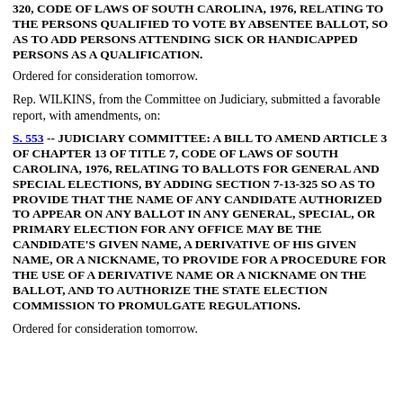320, CODE OF LAWS OF SOUTH CAROLINA, 1976, RELATING TO THE PERSONS QUALIFIED TO VOTE BY ABSENTEE BALLOT, SO AS TO ADD PERSONS ATTENDING SICK OR HANDICAPPED PERSONS AS A QUALIFICATION.
Ordered for consideration tomorrow.
Rep. WILKINS, from the Committee on Judiciary, submitted a favorable report, with amendments, on:
S. 553 -- Judiciary Committee: A BILL TO AMEND ARTICLE 3 of CHAPTER 13 OF TITLE 7, CODE OF LAWS OF SOUTH CAROLINA, 1976, RELATING TO BALLOTS FOR GENERAL AND SPECIAL ELECTIONS, BY ADDING SECTION 7-13-325 SO AS TO PROVIDE THAT THE NAME OF ANY CANDIDATE AUTHORIZED TO APPEAR ON ANY BALLOT IN ANY GENERAL, SPECIAL, OR PRIMARY ELECTION FOR ANY OFFICE MAY BE THE CANDIDATE'S GIVEN NAME, A DERIVATIVE OF HIS GIVEN NAME, OR A NICKNAME, TO PROVIDE FOR A PROCEDURE FOR THE USE OF A DERIVATIVE NAME OR A NICKNAME ON THE BALLOT, AND TO AUTHORIZE THE STATE ELECTION COMMISSION TO PROMULGATE REGULATIONS.
Ordered for consideration tomorrow.